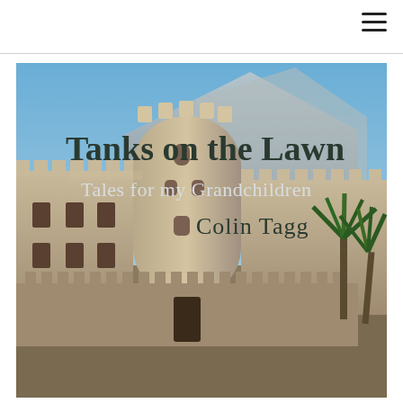[Figure (photo): Book cover for 'Tanks on the Lawn: Tales for my Grandchildren' by Colin Tagg. The cover features a photograph of a large Middle Eastern fort or castle (likely in Oman) with cylindrical towers, crenellated walls, and a desert mountain backdrop. Palm trees visible on the right. The title 'Tanks on the Lawn' appears in large dark serif text, subtitle 'Tales for my Grandchildren' in lighter serif text, and author 'Colin Tagg' below in dark serif text.]